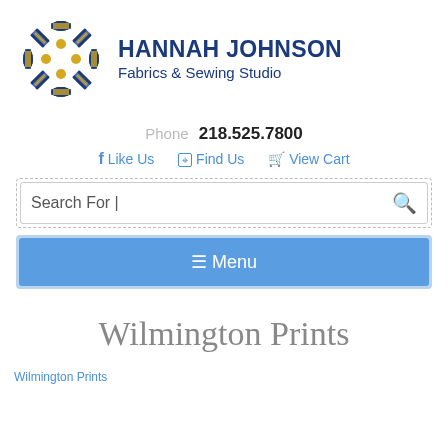[Figure (logo): Hannah Johnson Fabrics & Sewing Studio logo with thread spools arranged in a cross pattern, blue and gold colors]
HANNAH JOHNSON
Fabrics & Sewing Studio
Phone 218.525.7800
Like Us  Find Us  View Cart
Search For |
≡ Menu
Wilmington Prints
Wilmington Prints